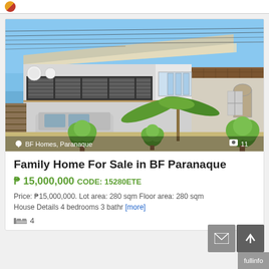[Figure (photo): Exterior photo of a two-story family home with carport, balcony with horizontal railings, white walls, and landscaped front yard with topiary bushes. Blue sky background. Location overlay: BF Homes, Paranaque. Photo count: 11.]
Family Home For Sale in BF Paranaque
₱ 15,000,000 CODE: 15280ETE
Price: ₱15,000,000. Lot area: 280 sqm Floor area: 280 sqm House Details 4 bedrooms 3 bathr [more]
4